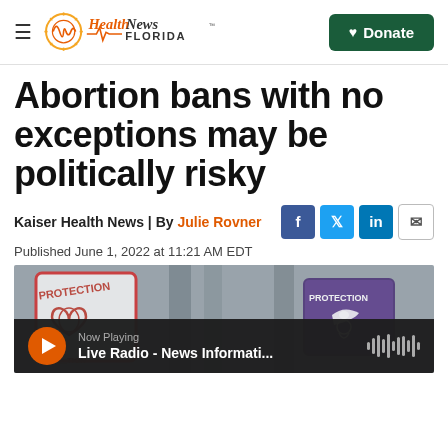Health News Florida — Donate
Abortion bans with no exceptions may be politically risky
Kaiser Health News | By Julie Rovner
Published June 1, 2022 at 11:21 AM EDT
[Figure (photo): Protest signs reading 'PROTECTION' held outside a building with columns; one sign is white with red text, another is purple with white text]
Now Playing — Live Radio - News Informati...